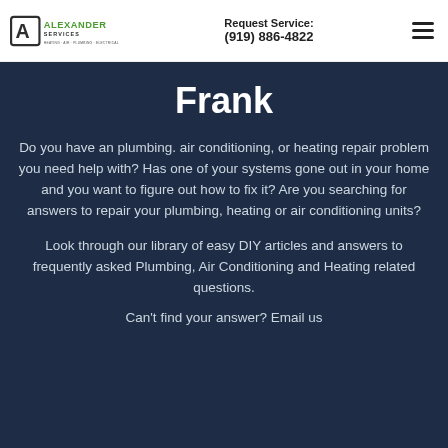Request Service: (919) 886-4822
Frank
Do you have an plumbing. air conditioning, or heating repair problem you need help with? Has one of your systems gone out in your home and you want to figure out how to fix it? Are you searching for answers to repair your plumbing, heating or air conditioning units?
Look through our library of easy DIY articles and answers to frequently asked Plumbing, Air Conditioning and Heating related questions.
Can't find your answer? Email us